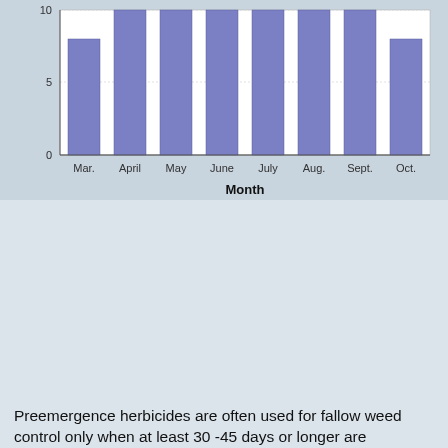[Figure (bar-chart): ]
Preemergence herbicides are often used for fallow weed control only when at least 30 -45 days or longer are available1. We must take into consideration most preemergence herbicides last about 3 months depending on soil conditions. Others like Eptam may last only like 3-4 weeks because of volatility2.
Also contact herbicides like Paraquat (Gramoxone, Firestorm), Carfentrazone (Aim, Shark), Pyraflufen (ET), Pelargonic Acid (Scythe) and others are used. These products act quick and leave little or no residual but must be applied when weeds are not too large. The systemic used most frequently is still Glyphosate. It has no residual and is broad spectrum herbicide. Another product registered for fallow use is Oxifluorfen (Goal, Galigan).